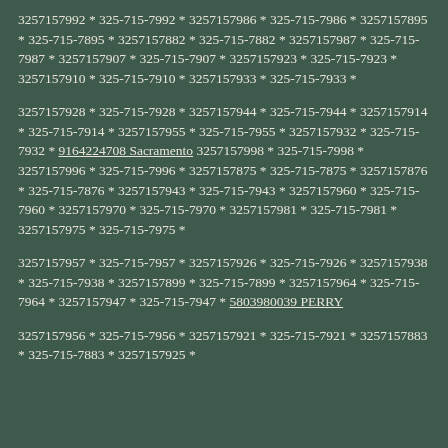3257157992 * 325-715-7992 * 3257157986 * 325-715-7986 * 3257157895 * 325-715-7895 * 3257157882 * 325-715-7882 * 3257157987 * 325-715-7987 * 3257157907 * 325-715-7907 * 3257157923 * 325-715-7923 * 3257157910 * 325-715-7910 * 3257157933 * 325-715-7933 *
3257157928 * 325-715-7928 * 3257157944 * 325-715-7944 * 3257157914 * 325-715-7914 * 3257157955 * 325-715-7955 * 3257157932 * 325-715-7932 * 9164224708 Sacramento 3257157998 * 325-715-7998 * 3257157996 * 325-715-7996 * 3257157875 * 325-715-7875 * 3257157876 * 325-715-7876 * 3257157943 * 325-715-7943 * 3257157960 * 325-715-7960 * 3257157970 * 325-715-7970 * 3257157981 * 325-715-7981 * 3257157975 * 325-715-7975 *
3257157957 * 325-715-7957 * 3257157926 * 325-715-7926 * 3257157938 * 325-715-7938 * 3257157899 * 325-715-7899 * 3257157964 * 325-715-7964 * 3257157947 * 325-715-7947 * 5803980039 PERRY
3257157956 * 325-715-7956 * 3257157921 * 325-715-7921 * 3257157883 * 325-715-7883 * 3257157925 *